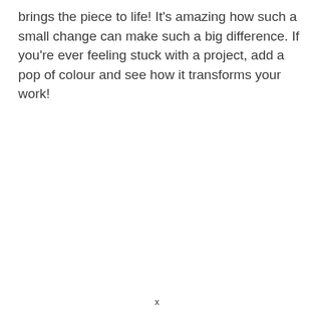brings the piece to life! It's amazing how such a small change can make such a big difference. If you're ever feeling stuck with a project, add a pop of colour and see how it transforms your work!
x